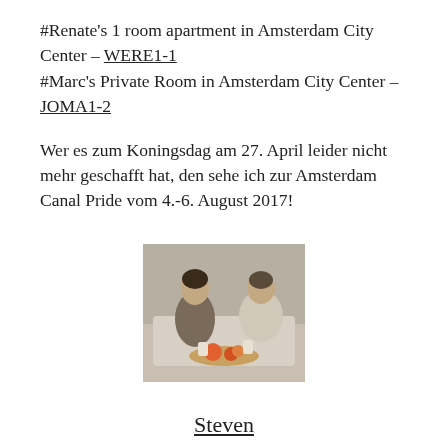#Renate's 1 room apartment in Amsterdam City Center – WERE1-1
#Marc's Private Room in Amsterdam City Center – JOMA1-2
Wer es zum Koningsdag am 27. April leider nicht mehr geschafft hat, den sehe ich zur Amsterdam Canal Pride vom 4.-6. August 2017!
[Figure (photo): Two men sitting on a bed with food and drinks on a tray, in a casual indoor setting.]
Steven
Steven has been part of ebab.com since 2013. He is the man for social media and the ebab gay travel blog. As